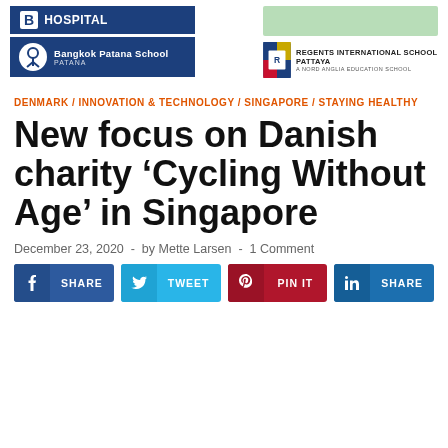[Figure (logo): Bangkok Patana School logo and hospital banner logos on the left; Regents International School Pattaya logo on the right]
DENMARK / INNOVATION & TECHNOLOGY / SINGAPORE / STAYING HEALTHY
New focus on Danish charity ‘Cycling Without Age’ in Singapore
December 23, 2020 - by Mette Larsen - 1 Comment
SHARE | TWEET | PIN IT | SHARE